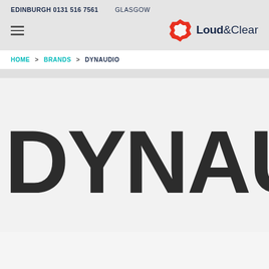EDINBURGH 0131 516 7561   GLASGOW
[Figure (logo): Loud & Clear logo with red hexagon-star icon and dark navy text]
HOME > BRANDS > DYNAUDIO
[Figure (logo): Dynaudio brand logo in large dark bold text]